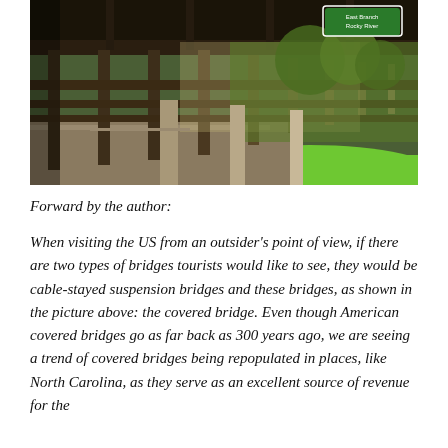[Figure (photo): Photograph of a covered wooden bridge interior/exterior showing wooden fence rails, vertical posts, a road surface, green grass, trees in the background, and a green road sign reading 'East Branch Rocky River' in the upper right corner.]
Forward by the author:
When visiting the US from an outsider's point of view, if there are two types of bridges tourists would like to see, they would be cable-stayed suspension bridges and these bridges, as shown in the picture above: the covered bridge. Even though American covered bridges go as far back as 300 years ago, we are seeing a trend of covered bridges being repopulated in places, like North Carolina, as they serve as an excellent source of revenue for the